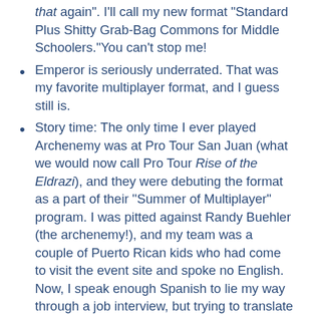that again". I'll call my new format "Standard Plus Shitty Grab-Bag Commons for Middle Schoolers."You can't stop me!
Emperor is seriously underrated. That was my favorite multiplayer format, and I guess still is.
Story time: The only time I ever played Archenemy was at Pro Tour San Juan (what we would now call Pro Tour Rise of the Eldrazi), and they were debuting the format as a part of their “Summer of Multiplayer” program. I was pitted against Randy Buehler (the archenemy!), and my team was a couple of Puerto Rican kids who had come to visit the event site and spoke no English. Now, I speak enough Spanish to lie my way through a job interview, but trying to translate how to play actual Magic against a Hall of Famer who has, like, 1000 life and keeps drawing extra cards somehow wasn’t in my linguistic